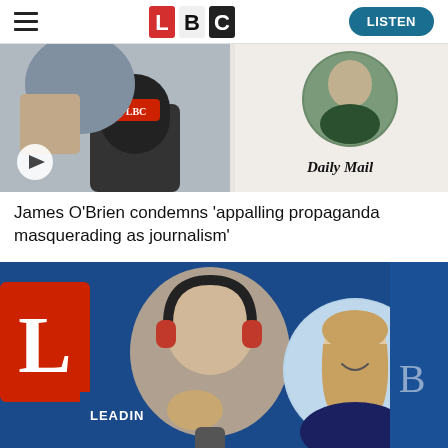LBC — LISTEN
[Figure (screenshot): LBC radio studio photo: James O'Brien pointing with microphone, circular inset of a woman, Daily Mail logo on right]
James O'Brien condemns 'appalling propaganda masquerading as journalism'
[Figure (screenshot): LBC radio studio photo: presenter wearing headphones, circular inset of Liz Truss smiling, LBC branding in background with 'LEADING BRITAIN' text]